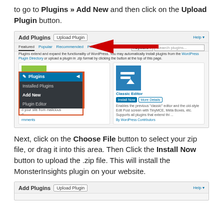to go to Plugins » Add New and then click on the Upload Plugin button.
[Figure (screenshot): WordPress Admin screenshot showing the Add Plugins page with Upload Plugin button highlighted by a red arrow, and a dropdown menu showing Plugins > Installed Plugins, Add New, Plugin Editor overlay with a red border.]
Next, click on the Choose File button to select your zip file, or drag it into this area. Then Click the Install Now button to upload the .zip file. This will install the MonsterInsights plugin on your website.
[Figure (screenshot): WordPress Admin screenshot showing the Add Plugins page with Upload Plugin button at the bottom of the page.]